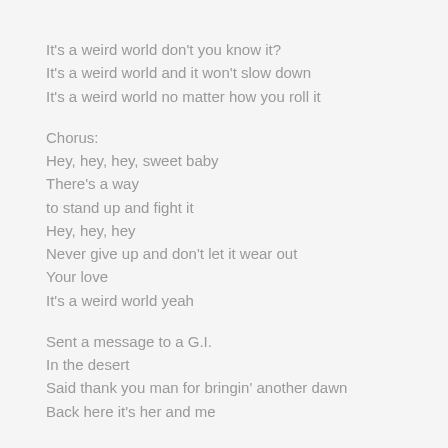It's a weird world don't you know it?
It's a weird world and it won't slow down
It's a weird world no matter how you roll it
Chorus:
Hey, hey, hey, sweet baby
There's a way
to stand up and fight it
Hey, hey, hey
Never give up and don't let it wear out
Your love
It's a weird world yeah
Sent a message to a G.I.
In the desert
Said thank you man for bringin' another dawn
Back here it's her and me